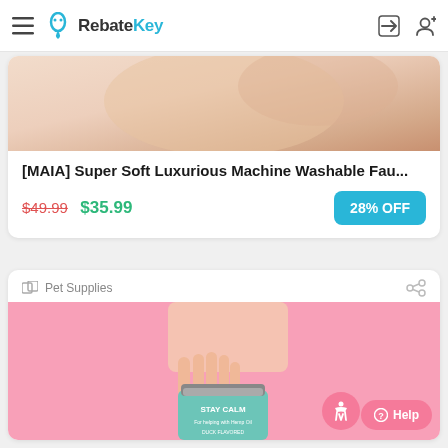RebateKey
[MAIA] Super Soft Luxurious Machine Washable Fau...
$49.99 $35.99 28% OFF
Pet Supplies
[Figure (photo): Product image of a pet calming supplement jar labeled STAY CALM, hand reaching toward it on pink background]